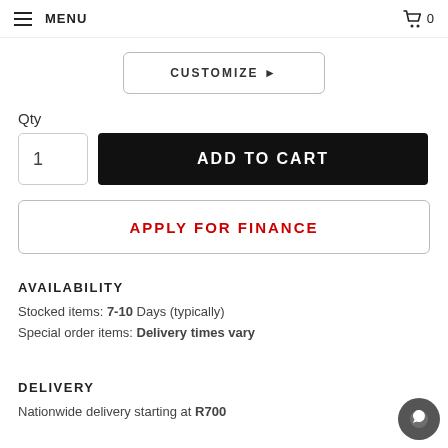MENU   0
CUSTOMIZE ▶
Qty
1   ADD TO CART
APPLY FOR FINANCE
AVAILABILITY
Stocked items: 7-10 Days (typically)
Special order items: Delivery times vary
DELIVERY
Nationwide delivery starting at R700